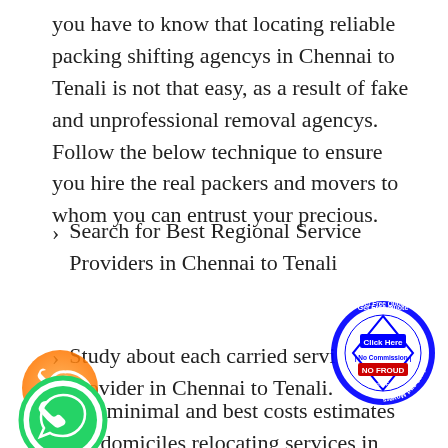you have to know that locating reliable packing shifting agencys in Chennai to Tenali is not that easy, as a result of fake and unprofessional removal agencys. Follow the below technique to ensure you hire the real packers and movers to whom you can entrust your precious.
Search for Best Regional Service Providers in Chennai to Tenali
Study about each carried service provider in Chennai to Tenali.
Get minimal and best costs estimates for domiciles relocating services in Chennai to
[Figure (illustration): Orange circle with white phone handset icon]
[Figure (illustration): Green circle with white WhatsApp phone handset icon]
[Figure (logo): Circular badge with blue border, text: Get Free Quote, Click Here, No Commission, NO FROUD, Only For Packers and Movers]